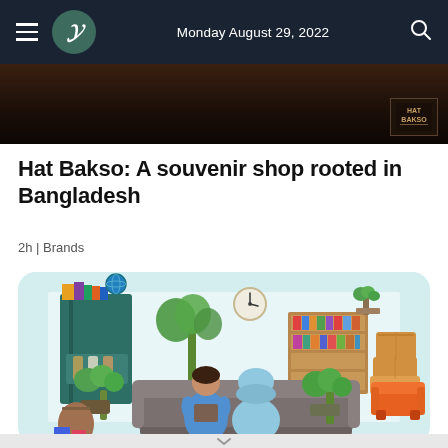Monday August 29, 2022
[Figure (photo): Dark hero image strip at top of article, with a small logo watermark in bottom-right corner]
Hat Bakso: A souvenir shop rooted in Bangladesh
2h | Brands
[Figure (illustration): Flat style illustration of a colorful shop interior scene with two women sitting on a sofa, one in blue hijab and one in blue top, surrounded by shelves with books and globe, potted plants, a wall clock, stacked boxes, and an orange armchair. Light teal/mint background.]